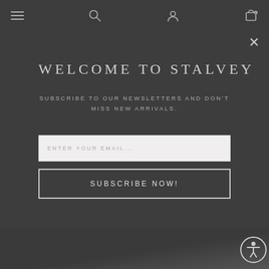Navigation bar with hamburger menu, search, account, and cart icons
WELCOME TO STALVEY
SUBSCRIBE TO OUR NEWSLETTERS AND DON'T MISS NEW ARRIVALS.
ENTER YOUR EMAIL...
SUBSCRIBE NOW!